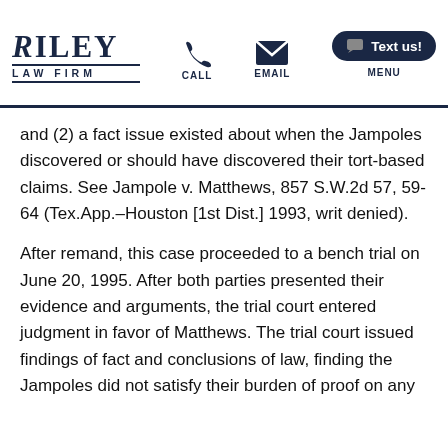Riley Law Firm — CALL | EMAIL | MENU | Text us!
and (2) a fact issue existed about when the Jampoles discovered or should have discovered their tort-based claims. See Jampole v. Matthews, 857 S.W.2d 57, 59-64 (Tex.App.–Houston [1st Dist.] 1993, writ denied).
After remand, this case proceeded to a bench trial on June 20, 1995. After both parties presented their evidence and arguments, the trial court entered judgment in favor of Matthews. The trial court issued findings of fact and conclusions of law, finding the Jampoles did not satisfy their burden of proof on any of their causes of action, and Matthews satisfied his…